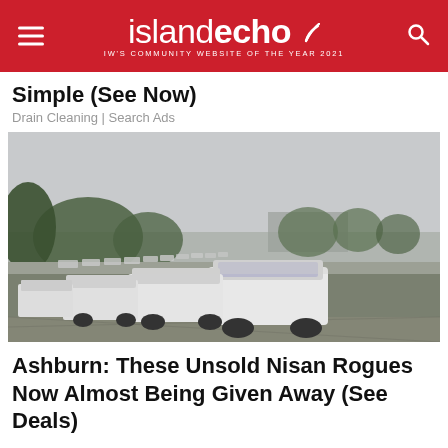islandecho — IW's COMMUNITY WEBSITE OF THE YEAR 2021
Simple (See Now)
Drain Cleaning | Search Ads
[Figure (photo): Large parking lot filled with rows of white SUVs (Nissan Rogues), viewed from behind a chain-link fence, with trees in the background and an overcast sky.]
Ashburn: These Unsold Nisan Rogues Now Almost Being Given Away (See Deals)